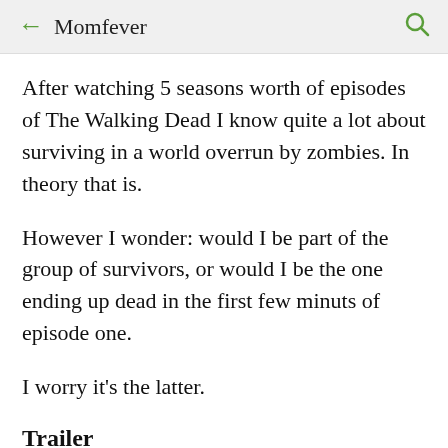← Momfever 🔍
After watching 5 seasons worth of episodes of The Walking Dead I know quite a lot about surviving in a world overrun by zombies. In theory that is.
However I wonder: would I be part of the group of survivors, or would I be the one ending up dead in the first few minuts of episode one.
I worry it's the latter.
Trailer